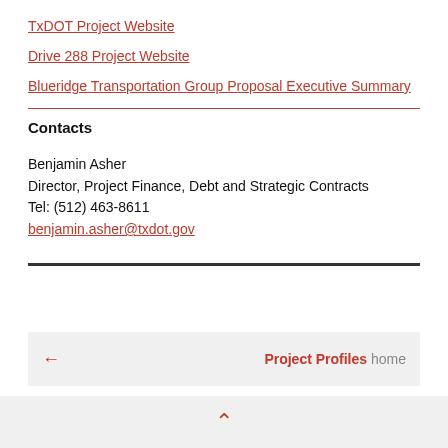TxDOT Project Website
Drive 288 Project Website
Blueridge Transportation Group Proposal Executive Summary
Contacts
Benjamin Asher
Director, Project Finance, Debt and Strategic Contracts
Tel: (512) 463-8611
benjamin.asher@txdot.gov
← Project Profiles home